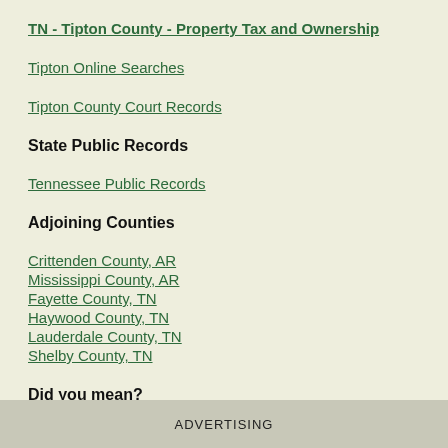TN - Tipton County - Property Tax and Ownership
Tipton Online Searches
Tipton County Court Records
State Public Records
Tennessee Public Records
Adjoining Counties
Crittenden County, AR
Mississippi County, AR
Fayette County, TN
Haywood County, TN
Lauderdale County, TN
Shelby County, TN
Did you mean?
Tipton County, IN
Tipton County Population Records
ADVERTISING